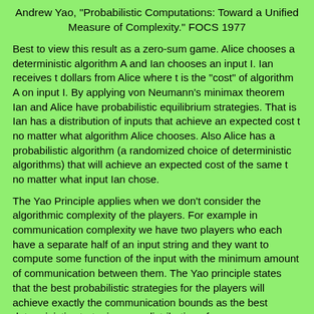Andrew Yao, "Probabilistic Computations: Toward a Unified Measure of Complexity." FOCS 1977
Best to view this result as a zero-sum game. Alice chooses a deterministic algorithm A and Ian chooses an input I. Ian receives t dollars from Alice where t is the "cost" of algorithm A on input I. By applying von Neumann's minimax theorem Ian and Alice have probabilistic equilibrium strategies. That is Ian has a distribution of inputs that achieve an expected cost t no matter what algorithm Alice chooses. Also Alice has a probabilistic algorithm (a randomized choice of deterministic algorithms) that will achieve an expected cost of the same t no matter what input Ian chose.
The Yao Principle applies when we don't consider the algorithmic complexity of the players. For example in communication complexity we have two players who each have a separate half of an input string and they want to compute some function of the input with the minimum amount of communication between them. The Yao principle states that the best probabilistic strategies for the players will achieve exactly the communication bounds as the best deterministic strategies on a distribution of...